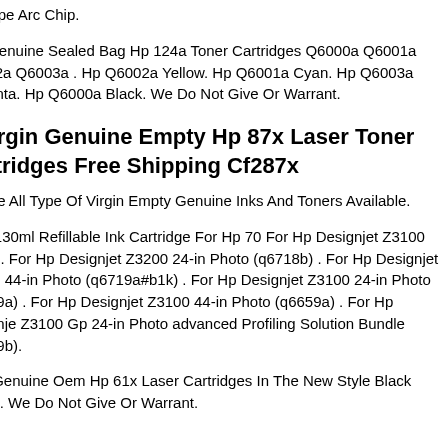hip Type Arc Chip.
et 4 Genuine Sealed Bag Hp 124a Toner Cartridges Q6000a Q6001a Q6002a Q6003a . Hp Q6002a Yellow. Hp Q6001a Cyan. Hp Q6003a Magenta. Hp Q6000a Black. We Do Not Give Or Warrant.
0 Virgin Genuine Empty Hp 87x Laser Toner Cartridges Free Shipping Cf287x
e Have All Type Of Virgin Empty Genuine Inks And Toners Available.
c/set 130ml Refillable Ink Cartridge For Hp 70 For Hp Designjet Z3100 Z3200. For Hp Designjet Z3200 24-in Photo (q6718b) . For Hp Designjet Z3200 44-in Photo (q6719a#b1k) . For Hp Designjet Z3100 24-in Photo (q5669a) . For Hp Designjet Z3100 44-in Photo (q6659a) . For Hp Designjet Z3100 Gp 24-in Photo advanced Profiling Solution Bundle (q5669b).
New Genuine Oem Hp 61x Laser Cartridges In The New Style Black Boxes. We Do Not Give Or Warrant.